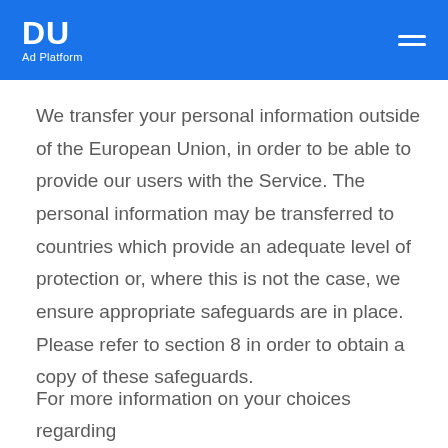DU Ad Platform
We transfer your personal information outside of the European Union, in order to be able to provide our users with the Service. The personal information may be transferred to countries which provide an adequate level of protection or, where this is not the case, we ensure appropriate safeguards are in place. Please refer to section 8 in order to obtain a copy of these safeguards.
For more information on your choices regarding